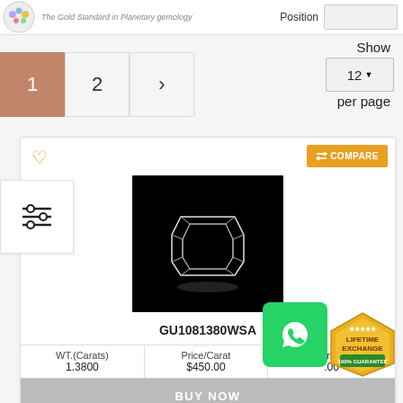The Gold Standard in Planetary gemology
Show
12 per page
1
2
>
[Figure (screenshot): Gemstone product card showing GU1081380WSA with gem image on black background, weight 1.3800 carats, price/carat $450.00, with BUY NOW button]
| WT.(Carats) | Price/Carat | Price |
| --- | --- | --- |
| 1.3800 | $450.00 | .00 |